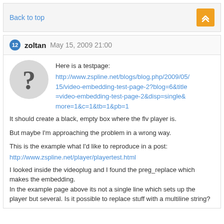Back to top
12  zoltan  May 15, 2009 21:00
Here is a testpage:
http://www.zspline.net/blogs/blog.php/2009/05/15/video-embedding-test-page-2?blog=6&title=video-embedding-test-page-2&disp=single&more=1&c=1&tb=1&pb=1
It should create a black, empty box where the flv player is.
But maybe I'm approaching the problem in a wrong way.
This is the example what I'd like to reproduce in a post:
http://www.zspline.net/player/playertest.html
I looked inside the videoplug and I found the preg_replace which makes the embedding.
In the example page above its not a single line which sets up the player but several. Is it possible to replace stuff with a multiline string?